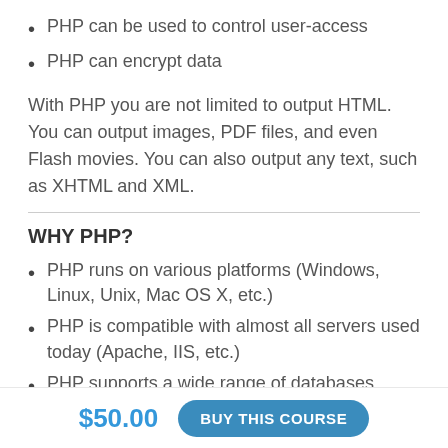PHP can be used to control user-access
PHP can encrypt data
With PHP you are not limited to output HTML. You can output images, PDF files, and even Flash movies. You can also output any text, such as XHTML and XML.
WHY PHP?
PHP runs on various platforms (Windows, Linux, Unix, Mac OS X, etc.)
PHP is compatible with almost all servers used today (Apache, IIS, etc.)
PHP supports a wide range of databases
PHP is free. Download it from the official PHP
$50.00
BUY THIS COURSE